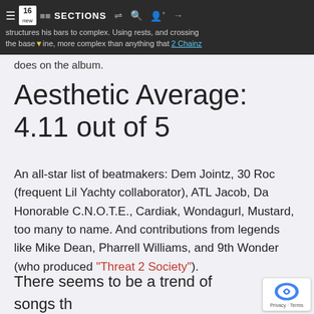structures his bars to complex. Using rests, and crossing the baseline, more complex than anything that 2 Chainz does on the album.
Aesthetic Average: 4.11 out of 5
An all-star list of beatmakers: Dem Jointz, 30 Roc (frequent Lil Yachty collaborator), ATL Jacob, Da Honorable C.N.O.T.E., Cardiak, Wondagurl, Mustard, too many to name. And contributions from legends like Mike Dean, Pharrell Williams, and 9th Wonder (who produced “Threat 2 Society”).
There seems to be a trend of songs that sample rap classics.